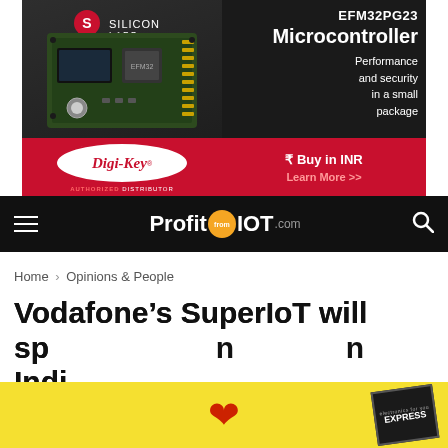[Figure (illustration): Silicon Labs / Digi-Key advertisement banner for EFM32PG23 Microcontroller. Shows PCB board image on left, product title and description on right, Digi-Key logo at bottom left with red oval, Buy in INR button on bottom right, Learn More link.]
[Figure (logo): ProfitFromIOT.com website logo and navigation bar with hamburger menu on left and search icon on right on dark background.]
Home › Opinions & People
Vodafone's SuperIoT will sp... n Indi...
[Figure (illustration): Yellow advertisement banner overlay at bottom with red heart icon and Express magazine badge]